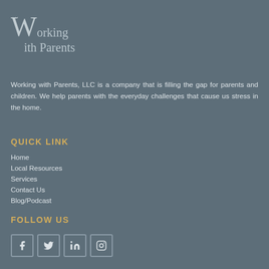[Figure (logo): Working with Parents logo with stylized W and dots]
Working with Parents, LLC is a company that is filling the gap for parents and children. We help parents with the everyday challenges that cause us stress in the home.
QUICK LINK
Home
Local Resources
Services
Contact Us
Blog/Podcast
FOLLOW US
[Figure (other): Social media icons: Facebook, Twitter, LinkedIn, Instagram]